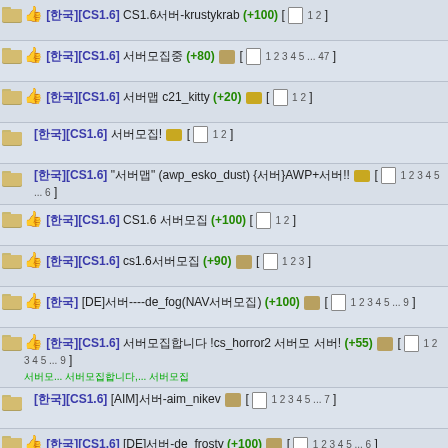[CS1.6] CS1.6서버-krustykrab (+100) [ 1 2 ]
[CS1.6] 서버모집중 (+80) [ 1 2 3 4 5 ... 47 ]
[CS1.6] 서버맵 c21_kitty (+20) [ 1 2 ]
[CS1.6] 서버모집! [ 1 2 ]
[CS1.6] "서버맵" (awp_esko_dust) {서버}AWP+서버!! [ 1 2 3 4 5 ... 6 ]
[CS1.6] CS1.6 서버모집 (+100) [ 1 2 ]
[CS1.6] cs1.6서버모집 (+90) [ 1 2 3 ]
[DE]서버----de_fog(NAV서버모집) (+100) [ 1 2 3 4 5 ... 9 ]
[CS1.6] 서버모집합니다 !cs_horror2 서버모 서버! (+55) [ 1 2 3 4 5 ... 9 ]
[CS1.6] [AIM]서버-aim_nikev [ 1 2 3 4 5 ... 7 ]
[CS1.6] [DE]서버-de_frosty (+100) [ 1 2 3 4 5 ... 6 ]
[CS1.6] [DE]서버-de_port_island (+100) [ 1 2 3 4 5 ... 7 ]